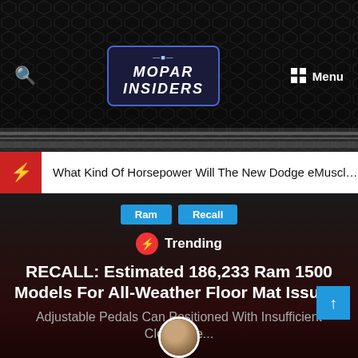[Figure (screenshot): Mopar Insiders website header with dark car grille background, search icon, logo, and menu button]
What Kind Of Horsepower Will The New Dodge eMuscle Ca...
Ram
Recall
Trending
RECALL: Estimated 186,233 Ram 1500 Models For All-Weather Floor Mat Issues:
Adjustable Pedals Can Positioned With Insufficient Clearance...